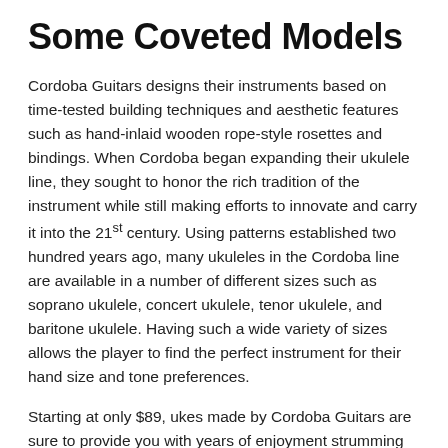Some Coveted Models
Cordoba Guitars designs their instruments based on time-tested building techniques and aesthetic features such as hand-inlaid wooden rope-style rosettes and bindings. When Cordoba began expanding their ukulele line, they sought to honor the rich tradition of the instrument while still making efforts to innovate and carry it into the 21st century. Using patterns established two hundred years ago, many ukuleles in the Cordoba line are available in a number of different sizes such as soprano ukulele, concert ukulele, tenor ukulele, and baritone ukulele. Having such a wide variety of sizes allows the player to find the perfect instrument for their hand size and tone preferences.
Starting at only $89, ukes made by Cordoba Guitars are sure to provide you with years of enjoyment strumming ukulele chords. Whether that be on your couch, by a campfire, or in the park, the ukulele has an amazing